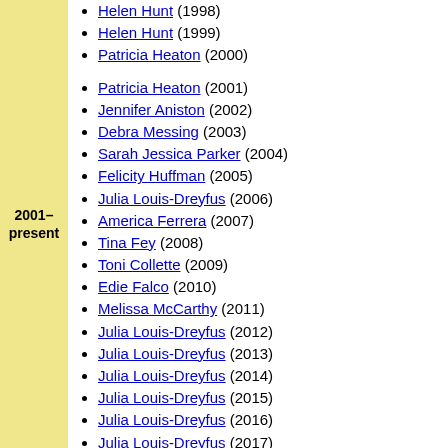Helen Hunt (1998)
Helen Hunt (1999)
Patricia Heaton (2000)
Patricia Heaton (2001)
Jennifer Aniston (2002)
Debra Messing (2003)
Sarah Jessica Parker (2004)
Felicity Huffman (2005)
Julia Louis-Dreyfus (2006)
America Ferrera (2007)
Tina Fey (2008)
Toni Collette (2009)
Edie Falco (2010)
Melissa McCarthy (2011)
Julia Louis-Dreyfus (2012)
Julia Louis-Dreyfus (2013)
Julia Louis-Dreyfus (2014)
Julia Louis-Dreyfus (2015)
Julia Louis-Dreyfus (2016)
Julia Louis-Dreyfus (2017)
Rachel Brosnahan (2018)
Phoebe Waller-Bridge (2019)
Catherine O'Hara (2020)
Jean Smart (2021)
2001–present